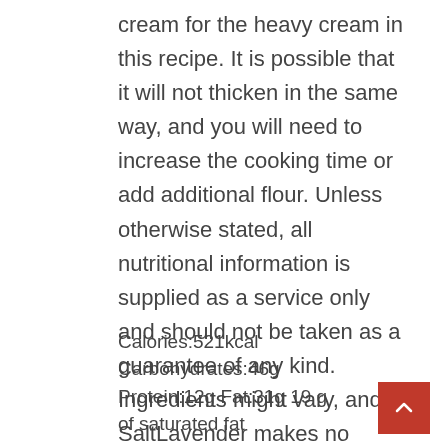cream for the heavy cream in this recipe. It is possible that it will not thicken in the same way, and you will need to increase the cooking time or add additional flour. Unless otherwise stated, all nutritional information is supplied as a service only and should not be taken as a guarantee of any kind. Ingredients might vary, and SaltLavender makes no representations or warranties as to the correctness of this data.
Calories:521kcal Carbohydrates:46g Protein:12g Fat:31g 19 g of saturated fat